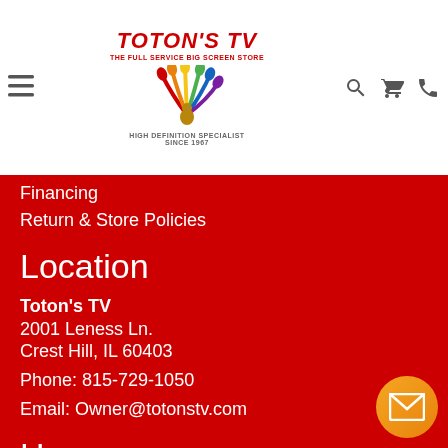[Figure (logo): Toton's TV logo with peacock graphic, text 'TOTONS TV - THE FULL SERVICE BIG SCREEN STORE' and 'HIGH DEFINITION SPECIALIST SINCE 1967']
Financing
Return & Store Policies
Location
Toton's TV
2001 Leness Ln.
Crest Hill, IL 60403

Phone: 815-729-1050
Email: Owner@totonstv.com
Hours
9:00 AM - 5:00 PM Daily